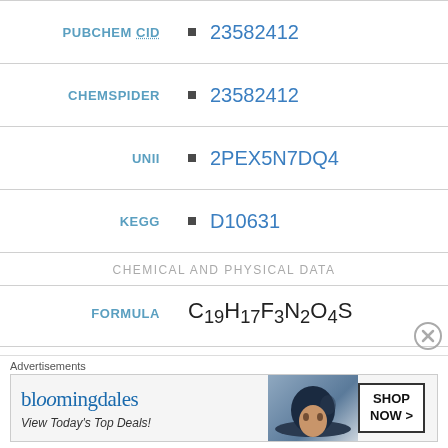PUBCHEM CID: 23582412
CHEMSPIDER: 23582412
UNII: 2PEX5N7DQ4
KEGG: D10631
CHEMICAL AND PHYSICAL DATA
FORMULA: C19H17F3N2O4S